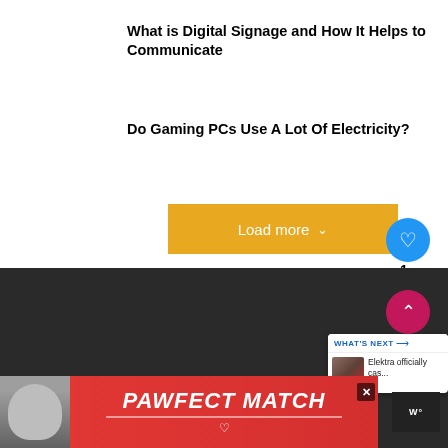What is Digital Signage and How It Helps to Communicate
Do Gaming PCs Use A Lot Of Electricity?
[Figure (other): Yellow 'Load more' button with chevron down icon]
[Figure (other): Blue circular heart/like button with count badge showing 1]
[Figure (other): Dark footer section with pink scroll-to-top button and 'What's Next' panel showing Elektra officially cas...]
[Figure (other): PAWFECT MATCH advertisement banner with cat image on red background, with close button and W logo]